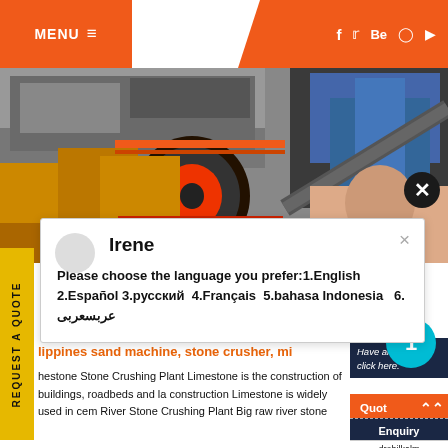MENU
[Figure (screenshot): Website header with orange MENU button on left and social media icons (f, Twitter, Be, Pinterest, YouTube) on right orange panel]
[Figure (photo): Industrial machinery/stone crusher equipment in yellow/orange color scheme]
REQUEST A QUOTE
Irene
Please choose the language you prefer:1.English  2.Español  3.русский  4.Français  5.bahasa Indonesia   6. عربسعربى
lippines sand machine, stone crusher, mi
hestone Stone Crushing Plant Limestone is the construction of buildings, roadbeds and la construction Limestone is widely used in cem River Stone Crushing Plant Big raw river stone
1
Have any m click here.
Quot
Enquiry
drobilkalm